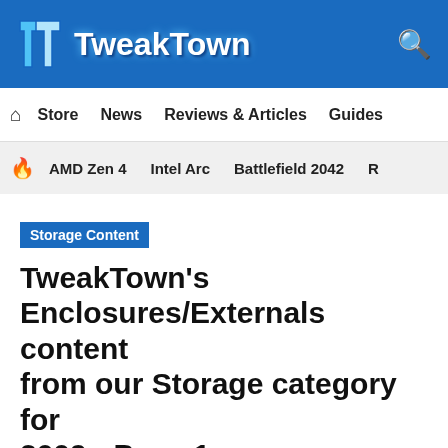TweakTown
Store  News  Reviews & Articles  Guides
AMD Zen 4  Intel Arc  Battlefield 2042  R
Storage Content
TweakTown's Enclosures/Externals content from our Storage category for 2009 - Page 1
Listing of our Enclosures/Externals content from our Storage category for 2009.